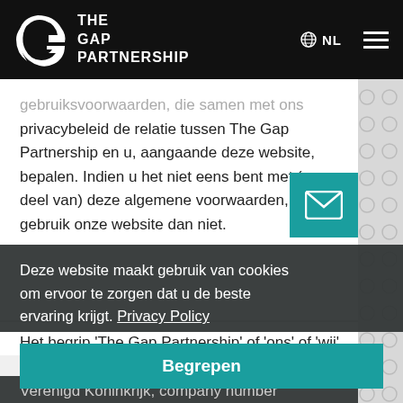[Figure (logo): The Gap Partnership logo - white G icon and wordmark on black header]
gebruiksvoorwaarden, die samen met ons privacybeleid de relatie tussen The Gap Partnership en u, aangaande deze website, bepalen. Indien u het niet eens bent met (een deel van) deze algemene voorwaarden, gebruik onze website dan niet.
Het begrip 'The Gap Partnership' of 'ons' of 'wij' Deze website maakt gebruik van cookies te, wiens om ervoor te zorgen dat u de beste lall, Chesham ervaring krijgt. Privacy Policy rdshire, HP4 2ST Verenigd Koninkrijk, company number 3467764. Het begrip 'u' verwijst naar de gebruiker of de lezer van de website.
Deze website maakt gebruik van cookies om ervoor te zorgen dat u de beste ervaring krijgt. Privacy Policy
Begrepen